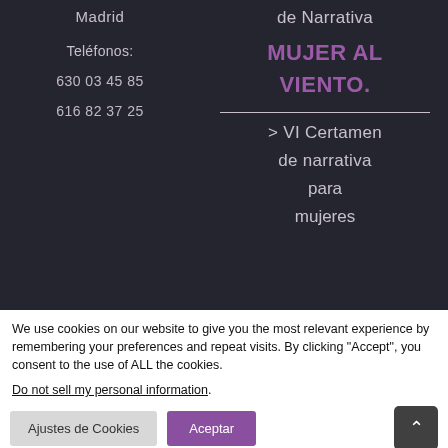Madrid
de Narrativa
Teléfonos:
MUJER AL
630 03 45 85
VIENTO.
616 82 37 25
> VI Certamen de narrativa para mujeres
We use cookies on our website to give you the most relevant experience by remembering your preferences and repeat visits. By clicking "Accept", you consent to the use of ALL the cookies.
Do not sell my personal information.